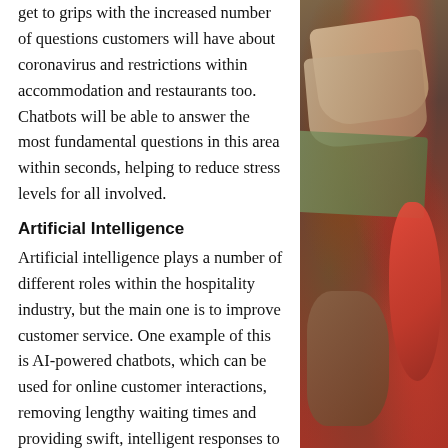get to grips with the increased number of questions customers will have about coronavirus and restrictions within accommodation and restaurants too. Chatbots will be able to answer the most fundamental questions in this area within seconds, helping to reduce stress levels for all involved.
Artificial Intelligence
Artificial intelligence plays a number of different roles within the hospitality industry, but the main one is to improve customer service. One example of this is AI-powered chatbots, which can be used for online customer interactions, removing lengthy waiting times and providing swift, intelligent responses to questions.
However, there are additional uses of
[Figure (photo): A photo of food items including wraps/rolls, some red peppers or tomatoes, and brown food items arranged together, captured in warm reddish-brown tones.]